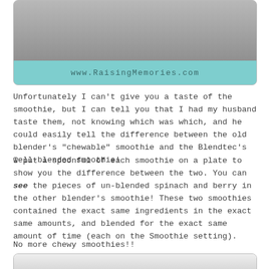[Figure (photo): Top portion of a blog image showing a smoothie comparison photo with a teal banner at the bottom reading www.RaisingMemories.com]
Unfortunately I can't give you a taste of the smoothie, but I can tell you that I had my husband taste them, not knowing which was which, and he could easily tell the difference between the old blender's "chewable" smoothie and the Blendtec's well-blended smoothie!
I put a spoonful of each smoothie on a plate to show you the difference between the two. You can see the pieces of un-blended spinach and berry in the other blender's smoothie! These two smoothies contained the exact same ingredients in the exact same amounts, and blended for the exact same amount of time (each on the Smoothie setting).
No more chewy smoothies!!
[Figure (photo): Bottom portion of a blog image showing a plate with smoothie samples for comparison, partially visible]